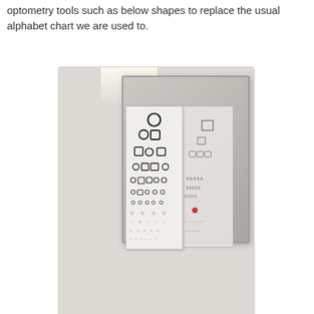optometry tools such as below shapes to replace the usual alphabet chart we are used to.
[Figure (photo): Photograph of an optometry examination room showing a shape-based eye chart (with circles, squares and other geometric shapes instead of letters) mounted on a wall next to a mirror panel. Below the chart, medical equipment including a phoropter or refraction unit is visible on a wall mount with cables. A watermark with a URL is visible in the lower portion of the image.]